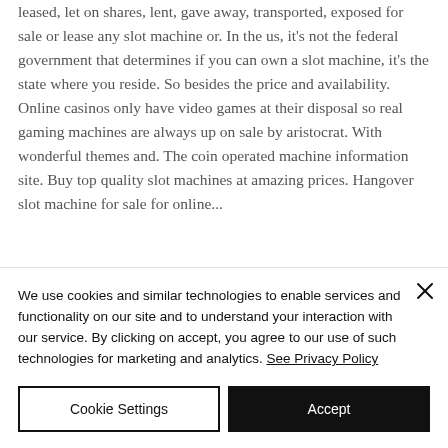leased, let on shares, lent, gave away, transported, exposed for sale or lease any slot machine or. In the us, it's not the federal government that determines if you can own a slot machine, it's the state where you reside. So besides the price and availability. Online casinos only have video games at their disposal so real gaming machines are always up on sale by aristocrat. With wonderful themes and. The coin operated machine information site. Buy top quality slot machines at amazing prices. Hangover slot machine for sale for online...
We use cookies and similar technologies to enable services and functionality on our site and to understand your interaction with our service. By clicking on accept, you agree to our use of such technologies for marketing and analytics. See Privacy Policy